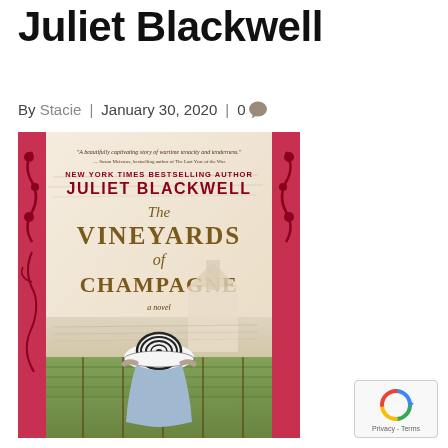Juliet Blackwell
By Stacie | January 30, 2020 | 0 💬
[Figure (photo): Book cover of 'The Vineyards of Champagne' by Juliet Blackwell. A New York Times bestselling author. Shows a woman in a striped hat looking over a vineyard. Blurb: 'A beautifully captivating story of wartime tenacity and tenderness.' — Susan Meissner, bestselling author of The Last Year of the War. Subtitle: a novel.]
[Figure (logo): reCAPTCHA badge with Privacy - Terms text]